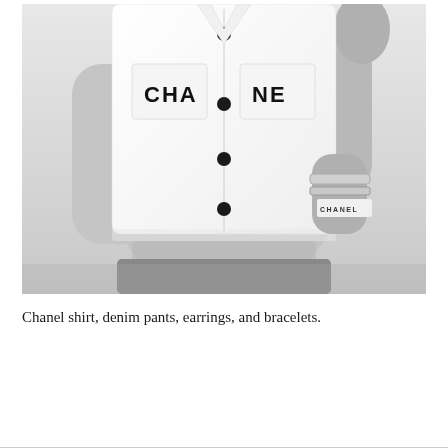[Figure (photo): Black and white fashion photograph showing a person wearing a white Chanel cropped button-up shirt with 'CHA' and 'NE' printed on the breast pockets (forming 'CHANEL'), black buttons down the front, and bracelets/jewelry on the wrist. Only the torso and arms are visible.]
Chanel shirt, denim pants, earrings, and bracelets.